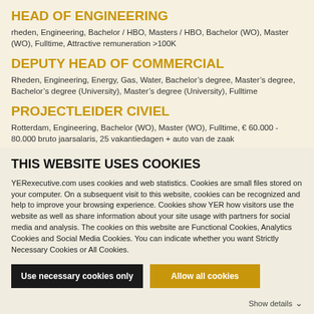HEAD OF ENGINEERING
rheden,  Engineering,  Bachelor / HBO, Masters / HBO, Bachelor (WO), Master (WO),  Fulltime,  Attractive remuneration >100K
DEPUTY HEAD OF COMMERCIAL
Rheden,  Engineering, Energy, Gas, Water,  Bachelor’s degree, Master’s degree, Bachelor’s degree (University), Master’s degree (University),  Fulltime
PROJECTLEIDER CIVIEL
Rotterdam,  Engineering,  Bachelor (WO), Master (WO),  Fulltime,  € 60.000 - 80.000 bruto jaarsalaris, 25 vakantiedagen + auto van de zaak
THIS WEBSITE USES COOKIES
YERexecutive.com uses cookies and web statistics. Cookies are small files stored on your computer. On a subsequent visit to this website, cookies can be recognized and help to improve your browsing experience. Cookies show YER how visitors use the website as well as share information about your site usage with partners for social media and analysis. The cookies on this website are Functional Cookies, Analytics Cookies and Social Media Cookies. You can indicate whether you want Strictly Necessary Cookies or All Cookies.
Use necessary cookies only
Allow all cookies
Show details